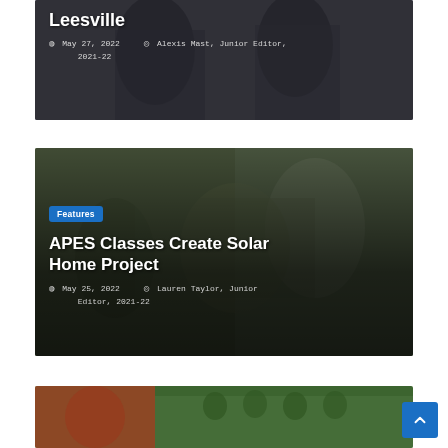[Figure (photo): Photo card showing two men in suits, partially visible. Top card for an article about Leesville. Date: May 27, 2022. Author: Alexis Mast, Junior Editor, 2021-22.]
Leesville
May 27, 2022   Alexis Mast, Junior Editor, 2021-22
[Figure (photo): Photo card showing students working on a project in a classroom, looking at solar panels or related materials. Badge: Features. Title: APES Classes Create Solar Home Project. Date: May 25, 2022. Author: Lauren Taylor, Junior Editor, 2021-22.]
Features
APES Classes Create Solar Home Project
May 25, 2022   Lauren Taylor, Junior Editor, 2021-22
[Figure (photo): Partial photo card at bottom showing a group of students/people outdoors. Card is cut off.]